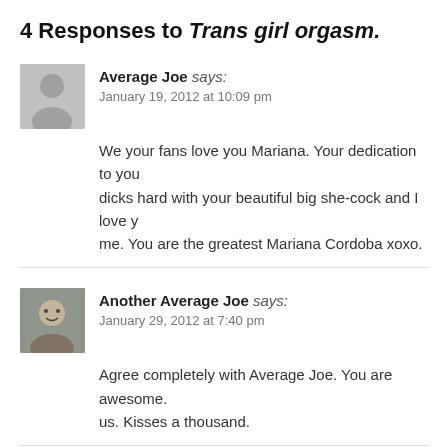4 Responses to Trans girl orgasm.
Average Joe says:
January 19, 2012 at 10:09 pm
We your fans love you Mariana. Your dedication to you... dicks hard with your beautiful big she-cock and I love ... me. You are the greatest Mariana Cordoba xoxo.
Another Average Joe says:
January 29, 2012 at 7:40 pm
Agree completely with Average Joe. You are awesome. ... us. Kisses a thousand.
titsncock says: